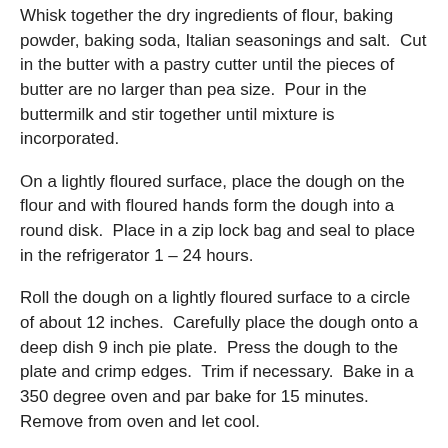Whisk together the dry ingredients of flour, baking powder, baking soda, Italian seasonings and salt.  Cut in the butter with a pastry cutter until the pieces of butter are no larger than pea size.  Pour in the buttermilk and stir together until mixture is incorporated.
On a lightly floured surface, place the dough on the flour and with floured hands form the dough into a round disk.  Place in a zip lock bag and seal to place in the refrigerator 1 – 24 hours.
Roll the dough on a lightly floured surface to a circle of about 12 inches.  Carefully place the dough onto a deep dish 9 inch pie plate.  Press the dough to the plate and crimp edges.  Trim if necessary.  Bake in a 350 degree oven and par bake for 15 minutes.  Remove from oven and let cool.